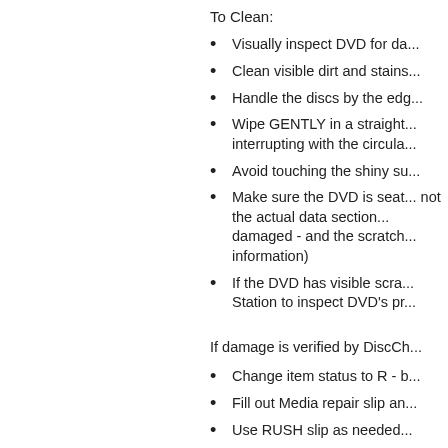To Clean:
Visually inspect DVD for da...
Clean visible dirt and stains...
Handle the discs by the edg...
Wipe GENTLY in a straight... interrupting with the circula...
Avoid touching the shiny su...
Make sure the DVD is seat... not the actual data section... damaged - and the scratch... information)
If the DVD has visible scra... Station to inspect DVD's pr...
If damage is verified by DiscCh...
Change item status to R - b...
Fill out Media repair slip an...
Use RUSH slip as needed...
Video materials will be i...